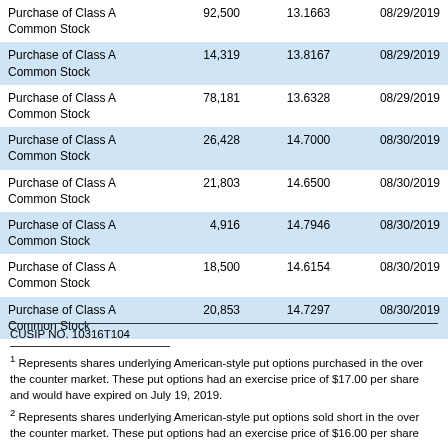|  |  |  |  |
| --- | --- | --- | --- |
| Purchase of Class A Common Stock | 92,500 | 13.1663 | 08/29/2019 |
| Purchase of Class A Common Stock | 14,319 | 13.8167 | 08/29/2019 |
| Purchase of Class A Common Stock | 78,181 | 13.6328 | 08/29/2019 |
| Purchase of Class A Common Stock | 26,428 | 14.7000 | 08/30/2019 |
| Purchase of Class A Common Stock | 21,803 | 14.6500 | 08/30/2019 |
| Purchase of Class A Common Stock | 4,916 | 14.7946 | 08/30/2019 |
| Purchase of Class A Common Stock | 18,500 | 14.6154 | 08/30/2019 |
| Purchase of Class A Common Stock | 20,853 | 14.7297 | 08/30/2019 |
CUSIP NO. 10316T104
1 Represents shares underlying American-style put options purchased in the over the counter market. These put options had an exercise price of $17.00 per share and would have expired on July 19, 2019.
2 Represents shares underlying American-style put options sold short in the over the counter market. These put options had an exercise price of $16.00 per share